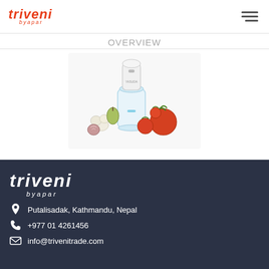Triveni Byapar
OVERVIEW
[Figure (photo): Yasuda Electric Chopper product photo with vegetables (tomatoes, garlic, pear)]
Yasuda Electric Chopper
Model : YS-CH01
Triveni Byapar | Putalisadak, Kathmandu, Nepal | +977 01 4261456 | info@trivenitrade.com